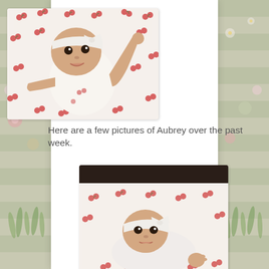[Figure (photo): Baby Aubrey lying on a white fabric with red cherry print, wearing a white bow headband and white outfit, looking at camera with one arm raised]
Here are a few pictures of Aubrey over the past week.
[Figure (photo): Baby Aubrey in a crib/bassinet with dark frame, wrapped in white cherry-print fabric, wearing a white bow headband, looking up at camera]